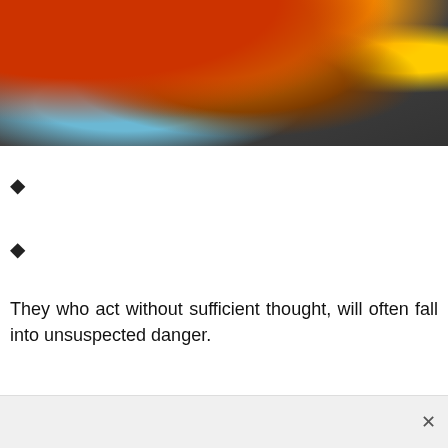[Figure (photo): Colorful animated video game characters, close-up showing orange, red, pink, light blue, and yellow figures against a dark background.]
?
?
They who act without sufficient thought, will often fall into unsuspected danger.